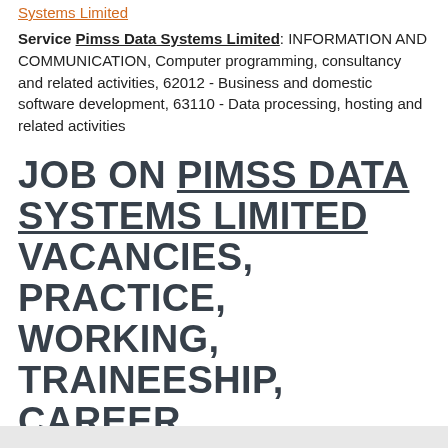Systems Limited
Service Pimss Data Systems Limited: INFORMATION AND COMMUNICATION, Computer programming, consultancy and related activities, 62012 - Business and domestic software development, 63110 - Data processing, hosting and related activities
JOB ON PIMSS DATA SYSTEMS LIMITED VACANCIES, PRACTICE, WORKING, TRAINEESHIP, CAREER
In Pimss Data Systems Limited open follow vacancies:
Project Co-ordinator. 1300 GBP.
Electrician. 1800 GBP.